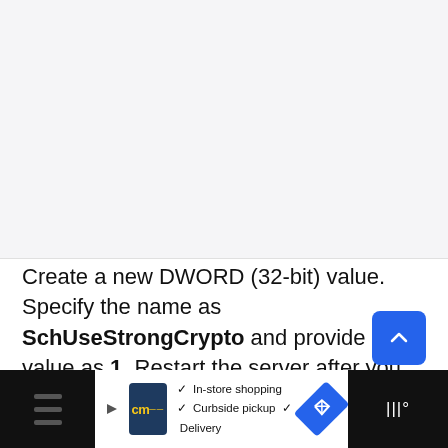[Figure (screenshot): Screenshot of a Windows Registry editor or similar dialog, light gray background area]
Create a new DWORD (32-bit) value. Specify the name as SchUseStrongCrypto and provide the value as 1. Restart the server after you make the changes.
[Figure (other): Advertisement bar at bottom showing CM logo, In-store shopping, Curbside pickup, Delivery options]